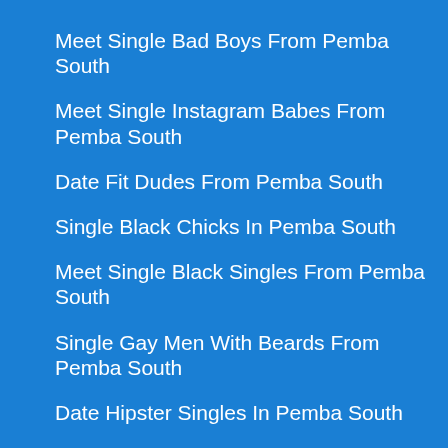Meet Single Bad Boys From Pemba South
Meet Single Instagram Babes From Pemba South
Date Fit Dudes From Pemba South
Single Black Chicks In Pemba South
Meet Single Black Singles From Pemba South
Single Gay Men With Beards From Pemba South
Date Hipster Singles In Pemba South
Meet Hipster Girls From Pemba South
Meet Single Euro Girls In Pemba South
Single Cops From Pemba South